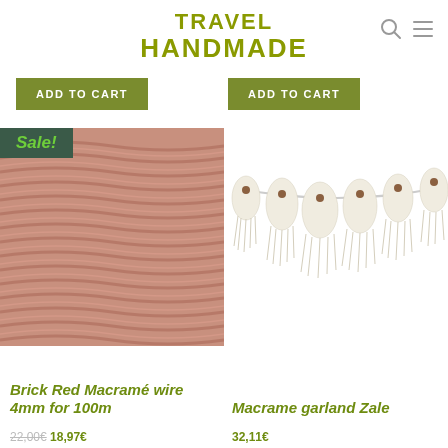TRAVEL HANDMADE
ADD TO CART
ADD TO CART
[Figure (photo): Spool of brick red macramé wire/rope, 4mm, tightly wound, with a 'Sale!' badge overlay in the top-left corner]
[Figure (photo): Macramé garland named Zale — cream colored fringe tassels connected on a string with wooden beads]
Brick Red Macramé wire 4mm for 100m
Macrame garland Zale